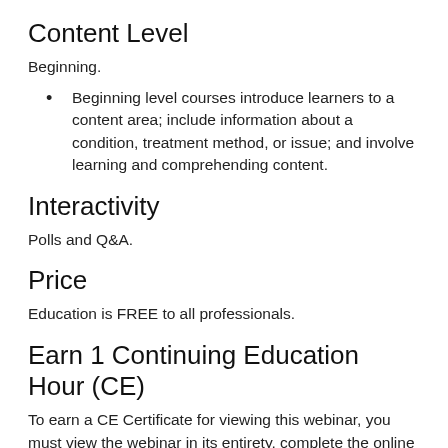Content Level
Beginning.
Beginning level courses introduce learners to a content area; include information about a condition, treatment method, or issue; and involve learning and comprehending content.
Interactivity
Polls and Q&A.
Price
Education is FREE to all professionals.
Earn 1 Continuing Education Hour (CE)
To earn a CE Certificate for viewing this webinar, you must view the webinar in its entirety, complete the online